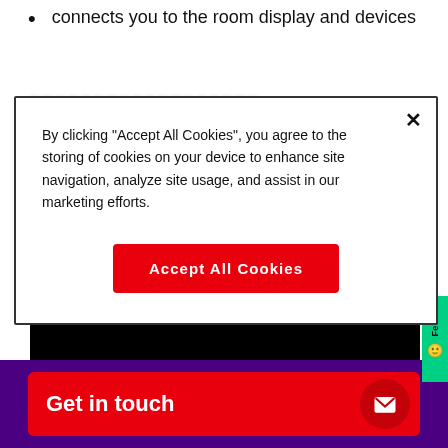connects you to the room display and devices
[Figure (screenshot): Cookie consent modal dialog overlaying a webpage. Modal contains text about cookie storage policy, a close X button, and a red Accept All Cookies button. Behind the modal is a webpage with a bullet list item, blurred text, and a black video area. At the bottom is a purple footer bar with a red Get in touch CTA button.]
simple, easy and completely wireless.
Get in touch